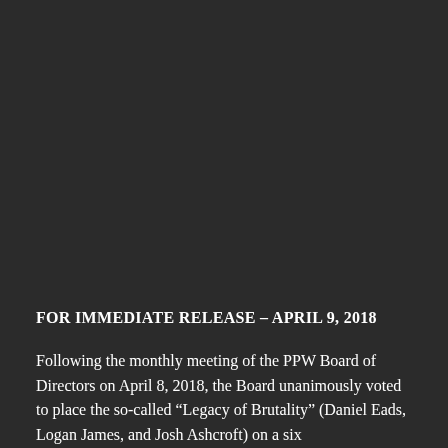FOR IMMEDIATE RELEASE – APRIL 9, 2018
Following the monthly meeting of the PPW Board of Directors on April 8, 2018, the Board unanimously voted to place the so-called “Legacy of Brutality” (Daniel Eads, Logan James, and Josh Ashcroft) on a six